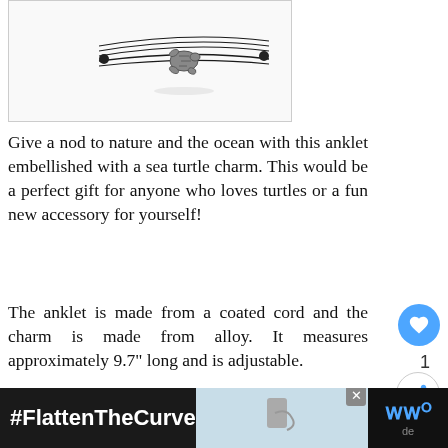[Figure (photo): A bracelet/anklet with black coated cords and a sea turtle charm in silver, shown on white background]
Give a nod to nature and the ocean with this anklet embellished with a sea turtle charm. This would be a perfect gift for anyone who loves turtles or a fun new accessory for yourself!
The anklet is made from a coated cord and the charm is made from alloy. It measures approximately 9.7" long and is adjustable.
Click here to find it on Amazon.
[Figure (screenshot): Advertisement bar at bottom showing #FlattenTheCurve with hand washing imagery]